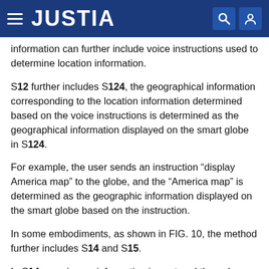JUSTIA
information can further include voice instructions used to determine location information.
S12 further includes S124, the geographical information corresponding to the location information determined based on the voice instructions is determined as the geographical information displayed on the smart globe in S124.
For example, the user sends an instruction “display America map” to the globe, and the “America map” is determined as the geographic information displayed on the smart globe based on the instruction.
In some embodiments, as shown in FIG. 10, the method further includes S14 and S15.
In S14, user image information is captured through a